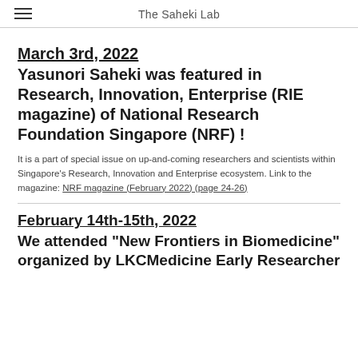The Saheki Lab
March 3rd, 2022
Yasunori Saheki was featured in Research, Innovation, Enterprise (RIE magazine) of National Research Foundation Singapore (NRF) !
It is a part of special issue on up-and-coming researchers and scientists within Singapore's Research, Innovation and Enterprise ecosystem. Link to the magazine: NRF magazine (February 2022) (page 24-26)
February 14th-15th, 2022
We attended “New Frontiers in Biomedicine” organized by LKCMedicine Early Researcher